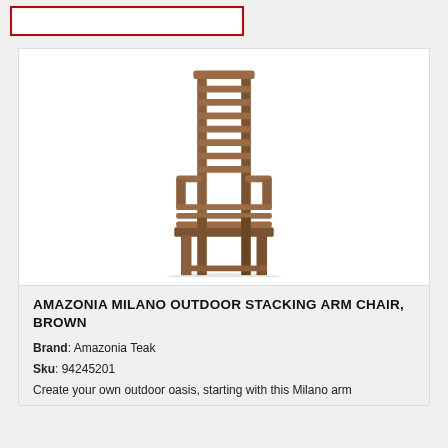[Figure (other): Red outlined rectangle/input box in top bar area]
[Figure (photo): Product photo of Amazonia Milano Outdoor Stacking Arm Chair in brown teak wood, showing a slatted high-back arm chair with wooden construction]
AMAZONIA MILANO OUTDOOR STACKING ARM CHAIR, BROWN
Brand: Amazonia Teak
Sku: 94245201
Create your own outdoor oasis, starting with this Milano arm